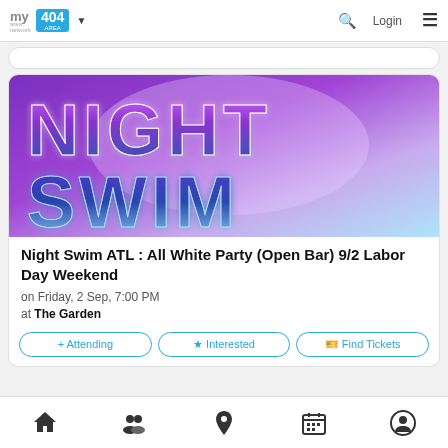my area network | 404 AREA | Login
[Figure (illustration): Stylized 3D neon text reading NIGHT SWIM with purple and blue gradient letters on a purple/light blue background]
Night Swim ATL : All White Party (Open Bar) 9/2 Labor Day Weekend
on Friday, 2 Sep, 7:00 PM
at The Garden
+ Attending
★ Interested
🎫 Find Tickets
Home | Groups | Location | Calendar | Profile